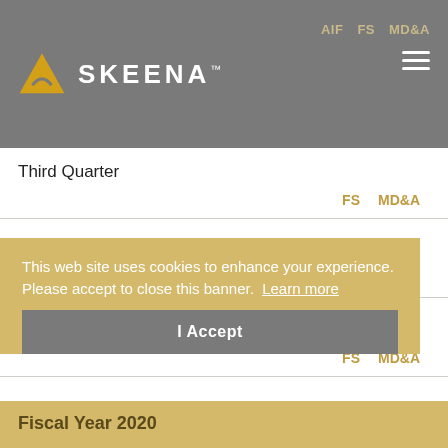SKEENA™ | AIF FS MD&A
Third Quarter
FS   MD&A
Second Quarter
FS   MD&A
First Quarter
FS   MD&A
This web site uses cookies to enhance your experience. Please accept to close this banner.   Learn more
I Accept
Fiscal Year 2020